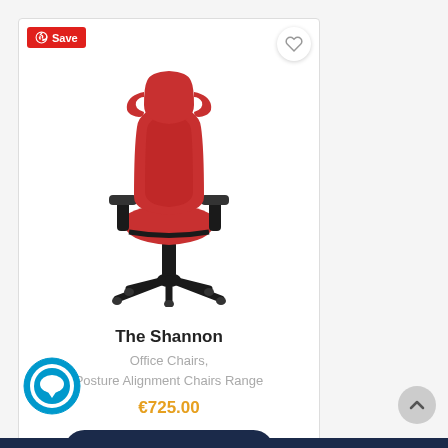[Figure (photo): Product card showing a red ergonomic office chair (The Shannon) with black base and armrests, on a white background. Card includes a red Pinterest Save badge top-left, a heart/wishlist button top-right, product title, category, price, and a Select Options button.]
The Shannon
Office Chairs, Posture Alignment Chairs Range
€725.00
SELECT OPTIONS